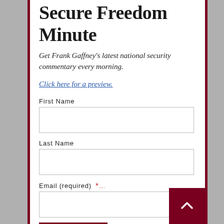Secure Freedom Minute
Get Frank Gaffney's latest national security commentary every morning.
Click here for a preview.
First Name
Last Name
Email (required) *
Sign up